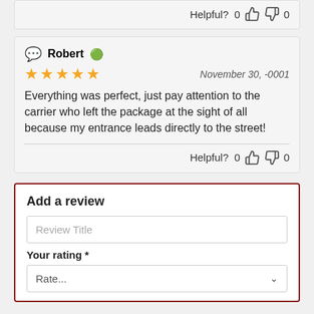Helpful? 0 👍 0 👎
Robert [verified] — November 30, -0001 — Everything was perfect, just pay attention to the carrier who left the package at the sight of all because my entrance leads directly to the street!
Helpful? 0 👍 0 👎
Add a review
Review Title
Your rating *
Rate...